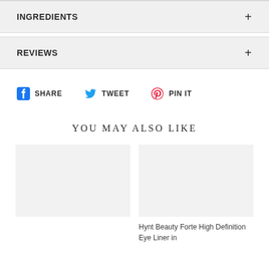INGREDIENTS
REVIEWS
SHARE   TWEET   PIN IT
YOU MAY ALSO LIKE
[Figure (photo): Empty product image placeholder box (left)]
[Figure (photo): Empty product image placeholder box (right)]
Hynt Beauty Forte High Definition Eye Liner in